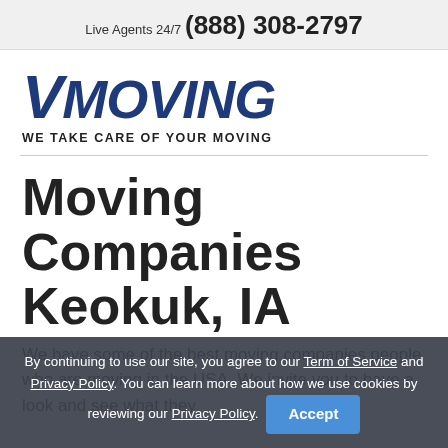Live Agents 24/7 (888) 308-2797
[Figure (logo): VMoving logo — large bold italic blue text reading 'VMOVING' with tagline 'WE TAKE CARE OF YOUR MOVING']
Moving Companies Keokuk, IA
We have some of the best moving companies people who are moving in the USA. We invite you to have a look and see what they
By continuing to use our site, you agree to our Term of Service and Privacy Policy. You can learn more about how we use cookies by reviewing our Privacy Policy. Accept